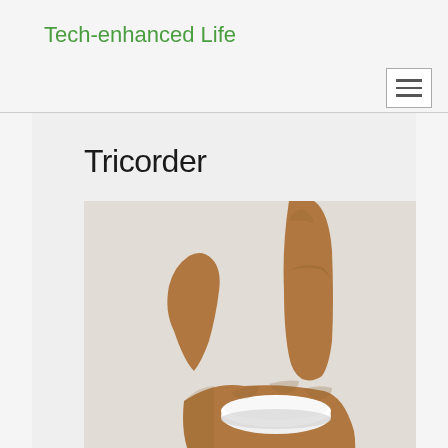Tech-enhanced Life
Tricorder
[Figure (photo): A hand holding a small white circular device (resembling a puck or disc) between the fingers and thumb, pressed down from above. The hand is a medium-brown skin tone against a light background.]